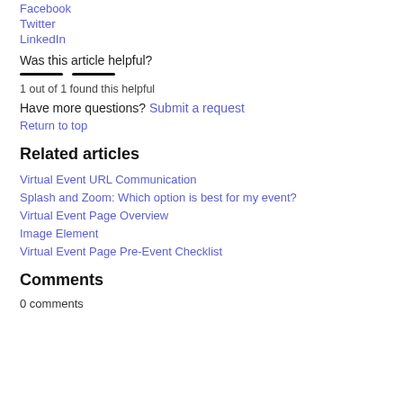Facebook
Twitter
LinkedIn
Was this article helpful?
1 out of 1 found this helpful
Have more questions? Submit a request
Return to top
Related articles
Virtual Event URL Communication
Splash and Zoom: Which option is best for my event?
Virtual Event Page Overview
Image Element
Virtual Event Page Pre-Event Checklist
Comments
0 comments